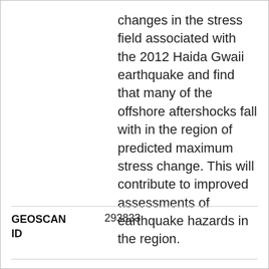changes in the stress field associated with the 2012 Haida Gwaii earthquake and find that many of the offshore aftershocks fall with in the region of predicted maximum stress change. This will contribute to improved assessments of earthquake hazards in the region.
| GEOSCAN ID | 293833 |
| --- | --- |